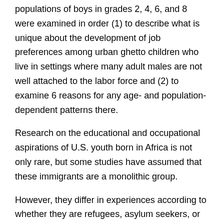populations of boys in grades 2, 4, 6, and 8 were examined in order (1) to describe what is unique about the development of job preferences among urban ghetto children who live in settings where many adult males are not well attached to the labor force and (2) to examine 6 reasons for any age- and population-dependent patterns there.
Research on the educational and occupational aspirations of U.S. youth born in Africa is not only rare, but some studies have assumed that these immigrants are a monolithic group.
However, they differ in experiences according to whether they are refugees, asylum seekers, or voluntary immigrants coming from various countries in Africa.
These immigrants also come from different countries with. Educational and occupational aspirations and attainment for Latino parents and students: Summary of research and selected tables. Paper presented at the National Council of La Raza Conference Education Institute for Hispanic School Board Members, Los Angeles, CA.